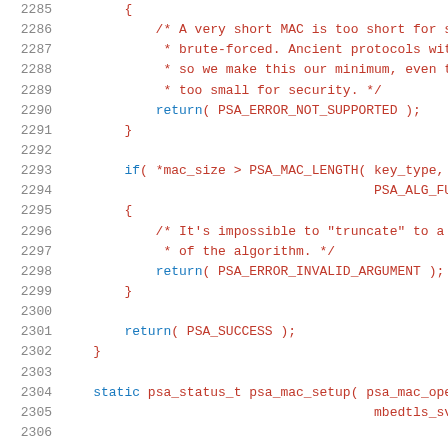Source code listing lines 2285-2305, C language, showing MAC size validation logic in psa_mac functions